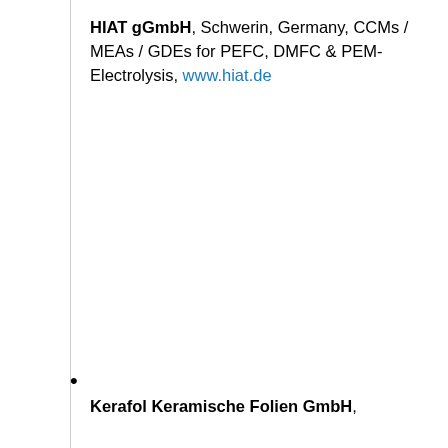HIAT gGmbH, Schwerin, Germany, CCMs / MEAs / GDEs for PEFC, DMFC & PEM-Electrolysis, www.hiat.de
Kerafol Keramische Folien GmbH,